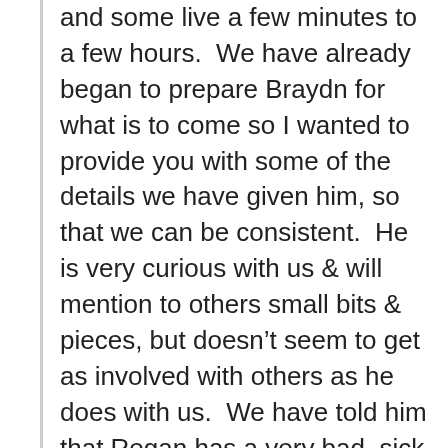and some live a few minutes to a few hours. We have already began to prepare Braydn for what is to come so I wanted to provide you with some of the details we have given him, so that we can be consistent. He is very curious with us & will mention to others small bits & pieces, but doesn't seem to get as involved with others as he does with us. We have told him that Regan has a very bad, sick heart. We explained that the doctors are unable to “fix it,” she probably won’t come home from the hospital to live with us, and that she will be going to Heaven to be with Jesus. He asked if her heart was breaking or bleeding, and we told him “No” that it just doesn’t go “kaboom” like ours does. We